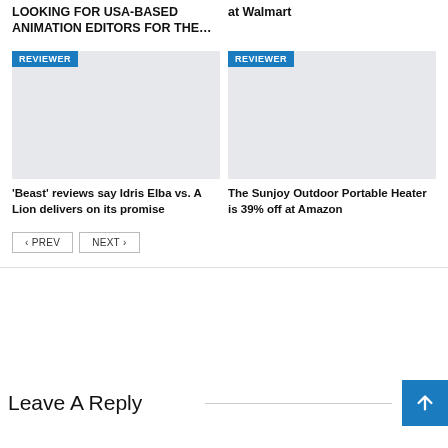LOOKING FOR USA-BASED ANIMATION EDITORS FOR THE…
at Walmart
[Figure (photo): Grey placeholder image with REVIEWER badge]
[Figure (photo): Grey placeholder image with REVIEWER badge]
'Beast' reviews say Idris Elba vs. A Lion delivers on its promise
The Sunjoy Outdoor Portable Heater is 39% off at Amazon
Leave A Reply